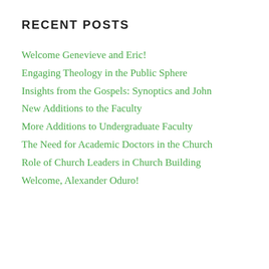RECENT POSTS
Welcome Genevieve and Eric!
Engaging Theology in the Public Sphere
Insights from the Gospels: Synoptics and John
New Additions to the Faculty
More Additions to Undergraduate Faculty
The Need for Academic Doctors in the Church
Role of Church Leaders in Church Building
Welcome, Alexander Oduro!